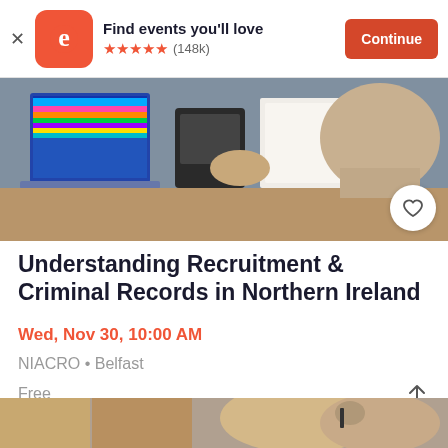[Figure (screenshot): Eventbrite app banner with logo, 'Find events you’ll love' text, 5 orange stars rating, (148k) reviews, and orange Continue button]
[Figure (photo): Office scene with a laptop showing colorful screen, a telephone, papers on desk, and a person's hands]
Understanding Recruitment & Criminal Records in Northern Ireland
Wed, Nov 30, 10:00 AM
NIACRO • Belfast
Free
[Figure (photo): Woman with blonde hair wearing headset talking on phone at reception desk, another person visible behind]